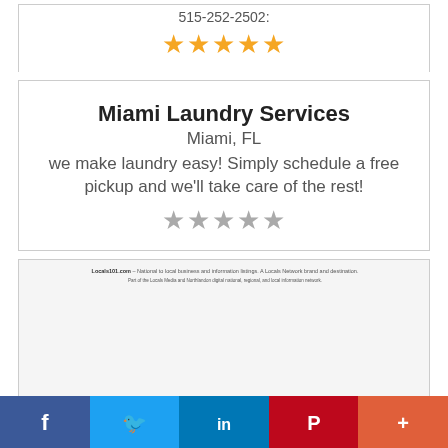515-252-2502:
[Figure (other): Five gold star rating icons]
Miami Laundry Services
Miami, FL
we make laundry easy! Simply schedule a free pickup and we'll take care of the rest!
[Figure (other): Five gray star rating icons]
[Figure (screenshot): Screenshot of Locals101.com website showing navigation, directory listings, and Browse Directory sidebar]
[Figure (other): Social media sharing bar with Facebook, Twitter, LinkedIn, Pinterest, and More buttons]